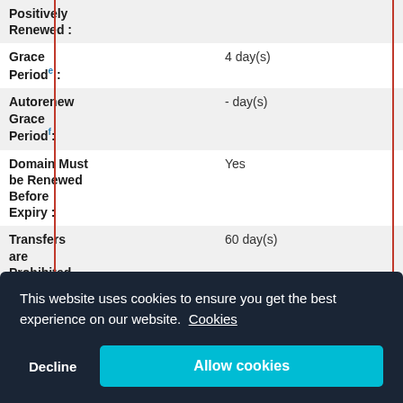| Field | Value |
| --- | --- |
| Positively Renewed : |  |
| Grace Periodᵉ : | 4 day(s) |
| Autorenew Grace Periodᶠ : | - day(s) |
| Domain Must be Renewed Before Expiry : | Yes |
| Transfers are Prohibited forᵈ : | 60 day(s) |
| Redemption Periodʰ : | 30 days |
This website uses cookies to ensure you get the best experience on our website. Cookies
Decline  Allow cookies